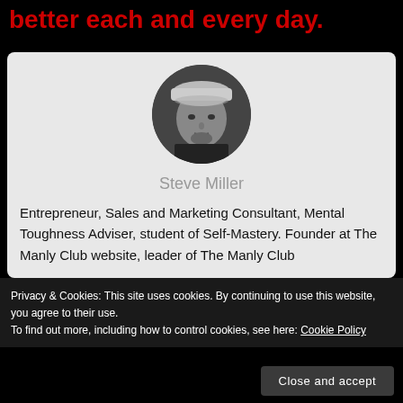better each and every day.
[Figure (photo): Circular black and white headshot photo of Steve Miller wearing a cap]
Steve Miller
Entrepreneur, Sales and Marketing Consultant, Mental Toughness Adviser, student of Self-Mastery. Founder at The Manly Club website, leader of The Manly Club
Privacy & Cookies: This site uses cookies. By continuing to use this website, you agree to their use.
To find out more, including how to control cookies, see here: Cookie Policy
Close and accept